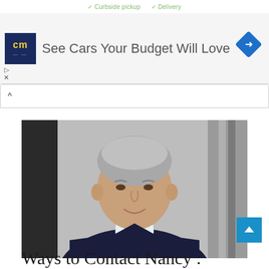Curbside pickup   Delivery
[Figure (screenshot): Advertisement banner showing 'cm' logo and text 'See Cars Your Budget Will Love' with a navigation diamond icon in the top right and close controls on the left]
Profiles:
[Figure (photo): Portrait photo of a middle-aged man with grey hair wearing a dark navy suit and blue tie, smiling, photographed outdoors against a building backdrop]
Ways to Contact Nancy :